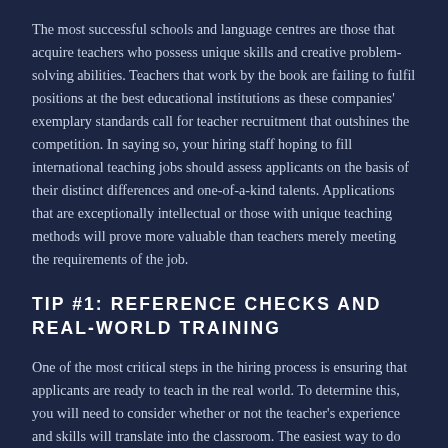The most successful schools and language centres are those that acquire teachers who possess unique skills and creative problem-solving abilities. Teachers that work by the book are failing to fulfil positions at the best educational institutions as these companies' exemplary standards call for teacher recruitment that outshines the competition. In saying so, your hiring staff hoping to fill international teaching jobs should assess applicants on the basis of their distinct differences and one-of-a-kind talents. Applications that are exceptionally intellectual or those with unique teaching methods will prove more valuable than teachers merely meeting the requirements of the job.
TIP #1: REFERENCE CHECKS AND REAL-WORLD TRAINING
One of the most critical steps in the hiring process is ensuring that applicants are ready to teach in the real world. To determine this, you will need to consider whether or not the teacher's experience and skills will translate into the classroom. The easiest way to do this is by vetting their references. Be sure to give each and every reference a call and prepare a series of questions that will allow you to determine whether or not the applicant is prepared to enter your classrooms. The second step, which is a little more time-